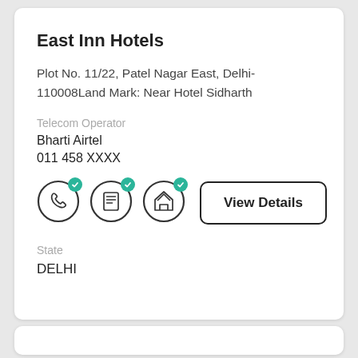East Inn Hotels
Plot No. 11/22, Patel Nagar East, Delhi-110008Land Mark: Near Hotel Sidharth
Telecom Operator
Bharti Airtel
011 458 XXXX
[Figure (infographic): Three circular icons with green checkmark badges (phone, document/list, house) and a View Details button]
State
DELHI